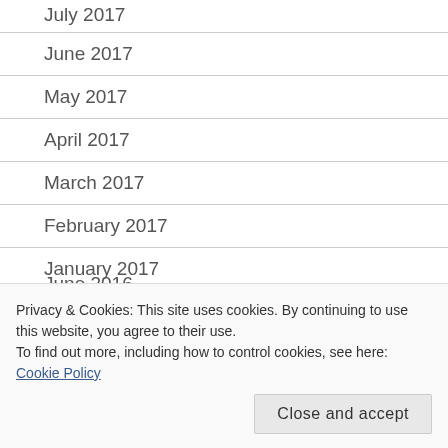July 2017
June 2017
May 2017
April 2017
March 2017
February 2017
January 2017
December 2016
November 2016
October 2016
June 2016
Privacy & Cookies: This site uses cookies. By continuing to use this website, you agree to their use.
To find out more, including how to control cookies, see here: Cookie Policy
Close and accept